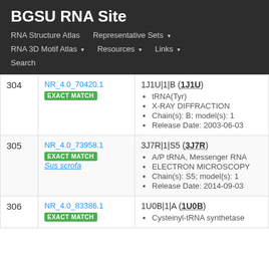BGSU RNA Site
RNA Structure Atlas | Representative Sets ▾ | RNA 3D Motif Atlas ▾ | Resources ▾ | Links ▾ | Search
| # | ID | Details |
| --- | --- | --- |
| 304 | NR_4.0_70420.1
EXACT MATCH | 1J1U|1|B (1J1U)
• tRNA(Tyr)
• X-RAY DIFFRACTION
• Chain(s): B; model(s): 1
• Release Date: 2003-06-03 |
| 305 | NR_4.0_73958.1
EXACT MATCH
Sus scrofa | 3J7R|1|S5 (3J7R)
• A/P tRNA, Messenger RNA
• ELECTRON MICROSCOPY
• Chain(s): S5; model(s): 1
• Release Date: 2014-09-03 |
| 306 | NR_4.0_83386.1
EXACT MATCH | 1U0B|1|A (1U0B)
• Cysteinyl-tRNA synthetase |